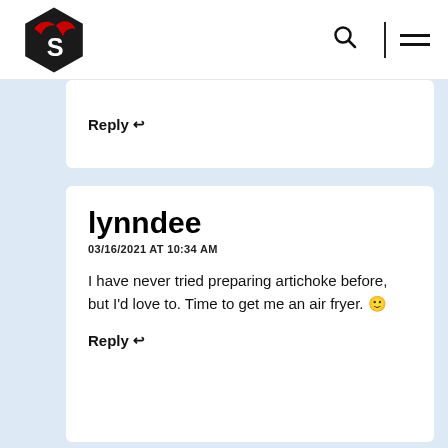[Figure (logo): Stylized red bird/mustache on black hexagon shape — website logo]
Reply ↩
lynndee
03/16/2021 AT 10:34 AM
I have never tried preparing artichoke before, but I'd love to. Time to get me an air fryer. 🙂
Reply ↩